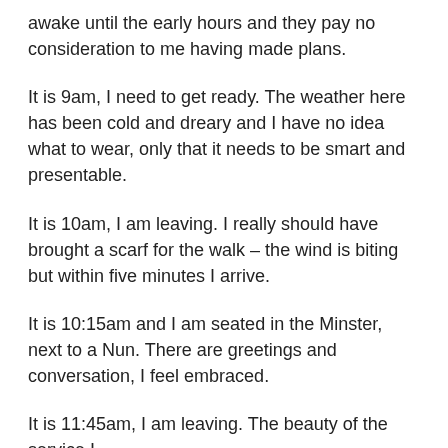awake until the early hours and they pay no consideration to me having made plans.
It is 9am, I need to get ready. The weather here has been cold and dreary and I have no idea what to wear, only that it needs to be smart and presentable.
It is 10am, I am leaving. I really should have brought a scarf for the walk – the wind is biting but within five minutes I arrive.
It is 10:15am and I am seated in the Minster, next to a Nun. There are greetings and conversation, I feel embraced.
It is 11:45am, I am leaving. The beauty of the service I